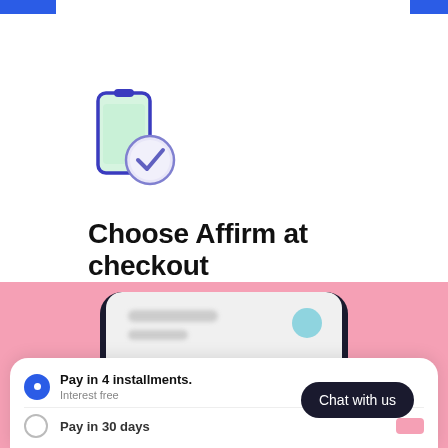[Figure (illustration): Icon showing a smartphone with a purple/blue outline and a green screen, overlaid with a purple circle containing a white checkmark, indicating approval or confirmation.]
Choose Affirm at checkout
[Figure (screenshot): A phone mockup showing the Affirm checkout interface on a pink background. The interface shows two payment options: 'Pay in 4 installments. Interest free' (selected with a blue radio button), and 'Pay in 30 days' partially visible. A dark 'Chat with us' button is displayed on the right side.]